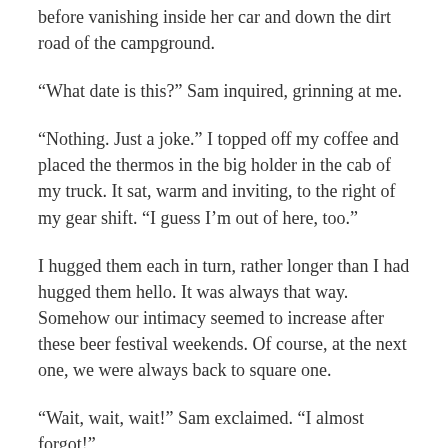before vanishing inside her car and down the dirt road of the campground.
“What date is this?” Sam inquired, grinning at me.
“Nothing. Just a joke.” I topped off my coffee and placed the thermos in the big holder in the cab of my truck. It sat, warm and inviting, to the right of my gear shift. “I guess I’m out of here, too.”
I hugged them each in turn, rather longer than I had hugged them hello. It was always that way. Somehow our intimacy seemed to increase after these beer festival weekends. Of course, at the next one, we were always back to square one.
“Wait, wait, wait!” Sam exclaimed. “I almost forgot!”
He dashed over to their tent and emerged with a big professional-grade camera – not the cheap digital kind the